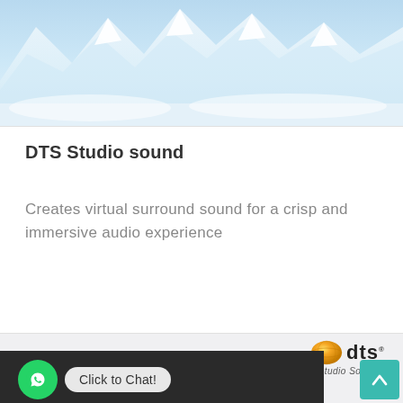[Figure (photo): Snow-capped mountain peaks with blue sky and ice — scenic alpine background image]
DTS Studio sound
Creates virtual surround sound for a crisp and immersive audio experience
[Figure (logo): DTS Studio Sound logo — orange/yellow sphere graphic next to bold 'dts' text and 'Studio Sound' subtitle]
[Figure (screenshot): WhatsApp chat button (green circle with WhatsApp icon) with 'Click to Chat!' label, overlaid on a dark background showing a partial scene]